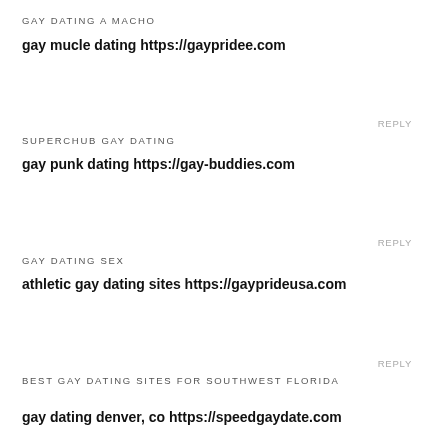GAY DATING A MACHO
gay mucle dating https://gaypridee.com
REPLY
SUPERCHUB GAY DATING
gay punk dating https://gay-buddies.com
REPLY
GAY DATING SEX
athletic gay dating sites https://gayprideusa.com
REPLY
BEST GAY DATING SITES FOR SOUTHWEST FLORIDA
gay dating denver, co https://speedgaydate.com